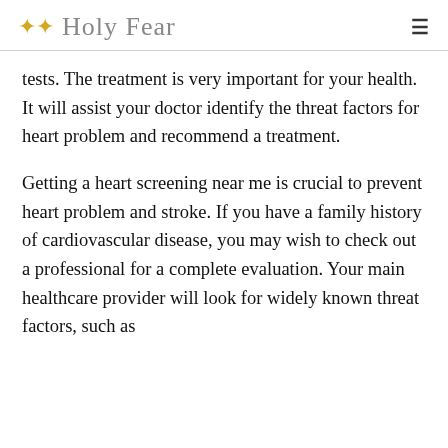Holy Fear
tests. The treatment is very important for your health. It will assist your doctor identify the threat factors for heart problem and recommend a treatment.
Getting a heart screening near me is crucial to prevent heart problem and stroke. If you have a family history of cardiovascular disease, you may wish to check out a professional for a complete evaluation. Your main healthcare provider will look for widely known threat factors, such as